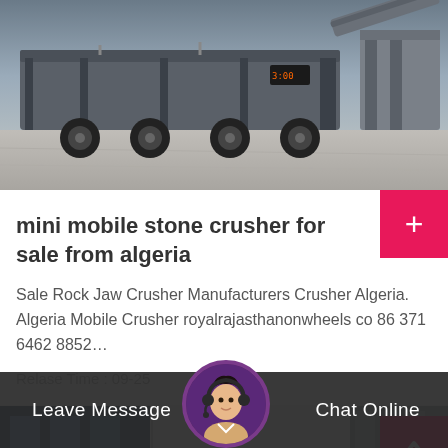[Figure (photo): Industrial mobile stone crusher machine on a concrete surface, viewed from the side, showing heavy machinery with large wheels and conveyor equipment.]
mini mobile stone crusher for sale from algeria
Sale Rock Jaw Crusher Manufacturers Crusher Algeria. Algeria Mobile Crusher royalrajasthanonwheels co 86 371 6462 8852…
Relase Time : 09-25
[Figure (photo): Partial view of industrial building facade on the left and grey industrial structure on the right, partially visible.]
Leave Message   Chat Online